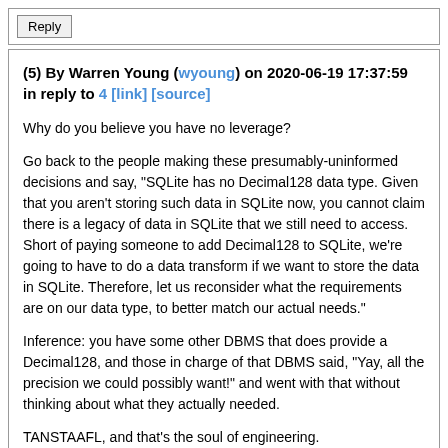Reply
(5) By Warren Young (wyoung) on 2020-06-19 17:37:59 in reply to 4 [link] [source]
Why do you believe you have no leverage?
Go back to the people making these presumably-uninformed decisions and say, "SQLite has no Decimal128 data type. Given that you aren't storing such data in SQLite now, you cannot claim there is a legacy of data in SQLite that we still need to access. Short of paying someone to add Decimal128 to SQLite, we're going to have to do a data transform if we want to store the data in SQLite. Therefore, let us reconsider what the requirements are on our data type, to better match our actual needs."
Inference: you have some other DBMS that does provide a Decimal128, and those in charge of that DBMS said, "Yay, all the precision we could possibly want!" and went with that without thinking about what they actually needed.
TANSTAAFL, and that's the soul of engineering.